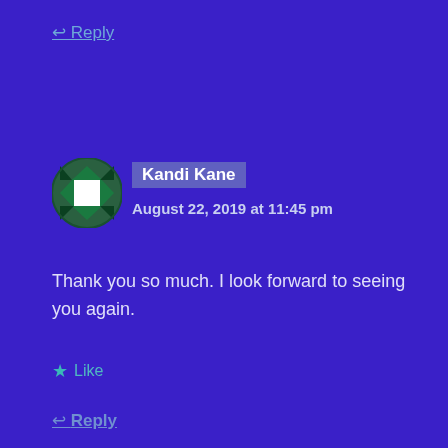↩ Reply
[Figure (illustration): Circular avatar with green and white geometric quilt/diamond pattern on dark green background]
Kandi Kane
August 22, 2019 at 11:45 pm
Thank you so much. I look forward to seeing you again.
★ Like
↩ Reply
Leave a Reply
Your email address will not be published. Required fields are marked *